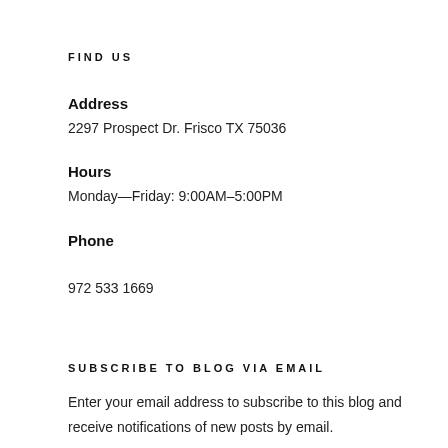FIND US
Address
2297 Prospect Dr. Frisco TX 75036
Hours
Monday—Friday: 9:00AM–5:00PM
Phone
972 533 1669
SUBSCRIBE TO BLOG VIA EMAIL
Enter your email address to subscribe to this blog and receive notifications of new posts by email.